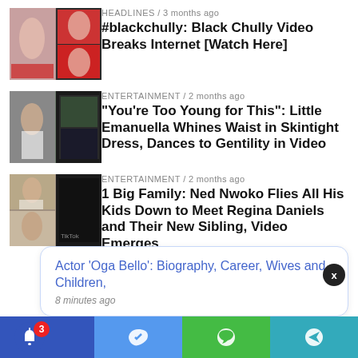[Figure (photo): Thumbnail image for Black Chully article]
HEADLINES / 3 months ago
#blackchully: Black Chully Video Breaks Internet [Watch Here]
[Figure (photo): Thumbnail image for Little Emanuella article]
ENTERTAINMENT / 2 months ago
“You’re Too Young for This”: Little Emanuella Whines Waist in Skintight Dress, Dances to Gentility in Video
[Figure (photo): Thumbnail image for Ned Nwoko article]
ENTERTAINMENT / 2 months ago
1 Big Family: Ned Nwoko Flies All His Kids Down to Meet Regina Daniels and Their New Sibling, Video Emerges
Actor ‘Oga Bello’: Biography, Career, Wives and Children, 8 minutes ago